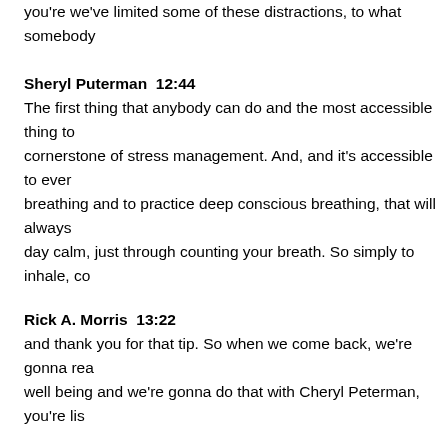you're we've limited some of these distractions, to what somebody
Sheryl Puterman  12:44
The first thing that anybody can do and the most accessible thing to cornerstone of stress management. And, and it's accessible to ever breathing and to practice deep conscious breathing, that will always day calm, just through counting your breath. So simply to inhale, co
Rick A. Morris  13:22
and thank you for that tip. So when we come back, we're gonna rea well being and we're gonna do that with Cheryl Peterman, you're lis
VoiceAmerica  13:41
Are you frustrated with the overall productivity of your project mana Our squared consulting provides end to end services to assist com management. Whether you want to build a Project Management Of governance to your project processes. r squared has tailored best p